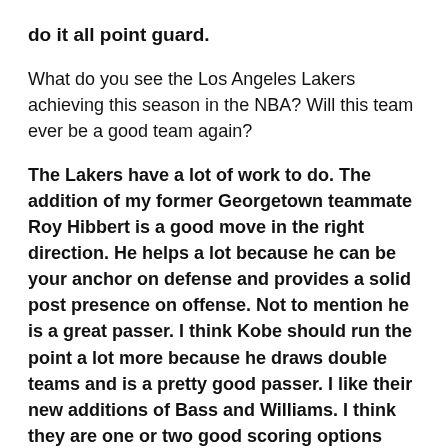do it all point guard.
What do you see the Los Angeles Lakers achieving this season in the NBA? Will this team ever be a good team again?
The Lakers have a lot of work to do. The addition of my former Georgetown teammate Roy Hibbert is a good move in the right direction. He helps a lot because he can be your anchor on defense and provides a solid post presence on offense. Not to mention he is a great passer. I think Kobe should run the point a lot more because he draws double teams and is a pretty good passer. I like their new additions of Bass and Williams. I think they are one or two good scoring options away from being able to compete in the West. But overall the Lakers are playing in a